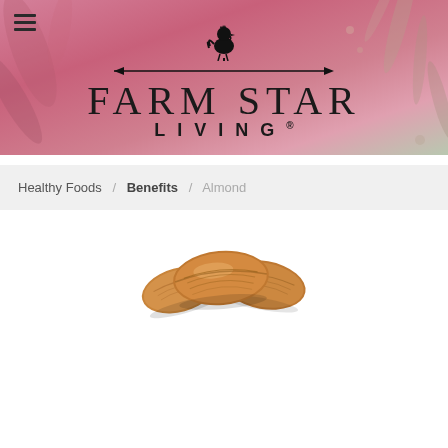[Figure (illustration): Farm Star Living website header banner with pink floral background, hamburger menu icon, rooster silhouette icon, horizontal arrow line, and 'FARM STAR LIVING' logo text]
Healthy Foods / Benefits / Almond
[Figure (photo): Three almonds arranged together on white background]